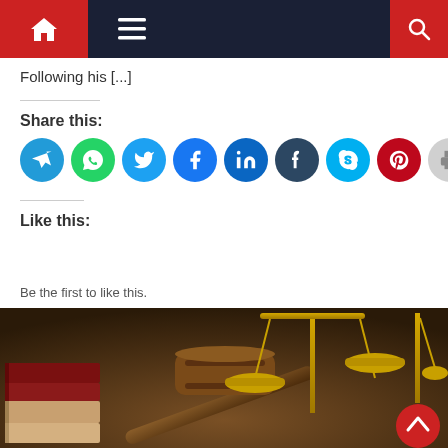Navigation bar with home, menu, and search icons
Following his [...]
Share this:
[Figure (infographic): Row of social media sharing circular icon buttons: Telegram, WhatsApp, Twitter, Facebook, LinkedIn, Tumblr, Skype, Pinterest, Print, Reddit, Pocket]
Like this:
Like
Be the first to like this.
[Figure (photo): Photo of a wooden judge's gavel and golden scales of justice on a brown background, with stacked books on the left side]